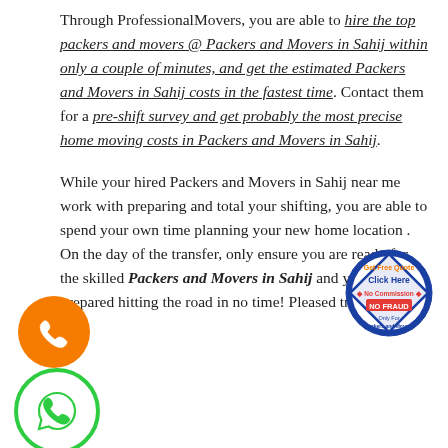Through ProfessionalMovers, you are able to hire the top packers and movers @ Packers and Movers in Sahij within only a couple of minutes, and get the estimated Packers and Movers in Sahij costs in the fastest time. Contact them for a pre-shift survey and get probably the most precise home moving costs in Packers and Movers in Sahij.
While your hired Packers and Movers in Sahij near me work with preparing and total your shifting, you are able to spend your own time planning your new home location . On the day of the transfer, only ensure you are ready for the skilled Packers and Movers in Sahij and you will be prepared hitting the road in no time! Pleased transferring !
[Figure (logo): Orange circle with white phone handset icon]
[Figure (logo): Green circle outline with green phone/WhatsApp handset icon]
[Figure (logo): Diamond-shaped badge with blue border reading 'Get Free Quote Click Here No Commission No Fraud Only For Packers and Movers']